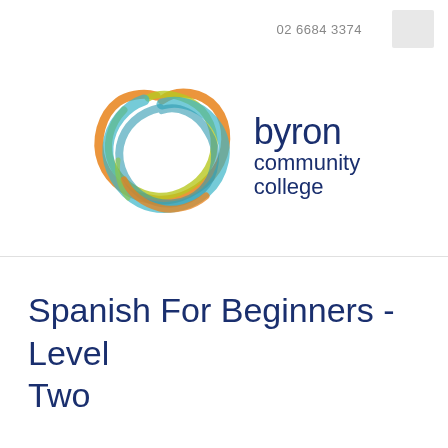02 6684 3374
[Figure (logo): Byron Community College logo — a circular swirl of orange, green, teal, and blue brushstrokes forming a ring, next to the text 'byron community college' in dark navy blue]
Spanish For Beginners - Level Two